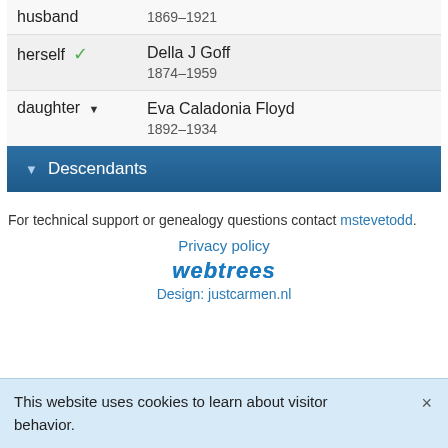| husband | 1869–1921 |
| herself ✓ | Della J Goff
1874–1959 |
| daughter ▾ | Eva Caladonia Floyd
1892–1934 |
▾ Descendants
For technical support or genealogy questions contact mstevetodd.
Privacy policy
[Figure (logo): webtrees logo in blue italic bold text]
Design: justcarmen.nl
This website uses cookies to learn about visitor behavior.